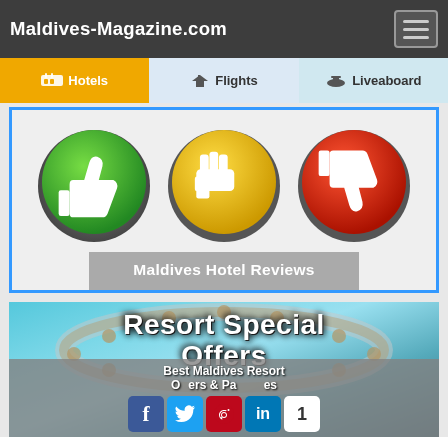Maldives-Magazine.com
[Figure (screenshot): Navigation tab bar with Hotels (gold), Flights (light blue), Liveaboard (light teal) tabs]
[Figure (illustration): Three circular rating buttons: green thumbs up, yellow fist/neutral, red thumbs down with caption bar 'Maldives Hotel Reviews']
Maldives Hotel Reviews
[Figure (photo): Aerial photo of Maldives overwater bungalows resort in turquoise water with overlaid text 'Resort Special Offers' and social sharing icons bar at bottom reading 'Best Maldives Resort Offers & Packages']
Best Maldives Resort Offers & Packages